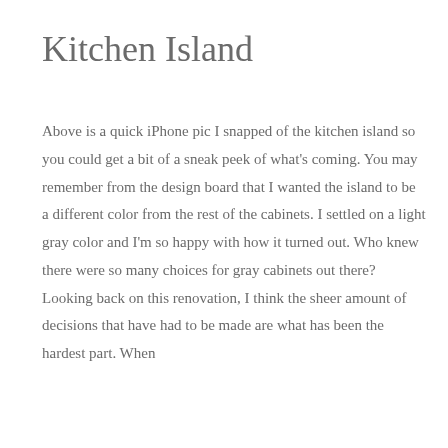Kitchen Island
Above is a quick iPhone pic I snapped of the kitchen island so you could get a bit of a sneak peek of what's coming. You may remember from the design board that I wanted the island to be a different color from the rest of the cabinets. I settled on a light gray color and I'm so happy with how it turned out. Who knew there were so many choices for gray cabinets out there? Looking back on this renovation, I think the sheer amount of decisions that have had to be made are what has been the hardest part. When